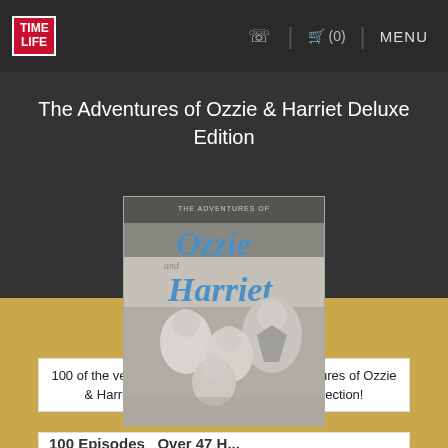TIME LIFE  ☎  🛒 (0)  MENU
The Adventures of Ozzie & Harriet Deluxe Edition
[Figure (photo): DVD/Blu-ray product cover for The Adventures of Ozzie and Harriet, showing the title in cursive text above a black-and-white portrait photo of the Nelson family (four people posing together).]
100 of the very best episodes from The Adventures of Ozzie & Harriet all together in one incredible collection!
100 Episodes  Over 47 H...